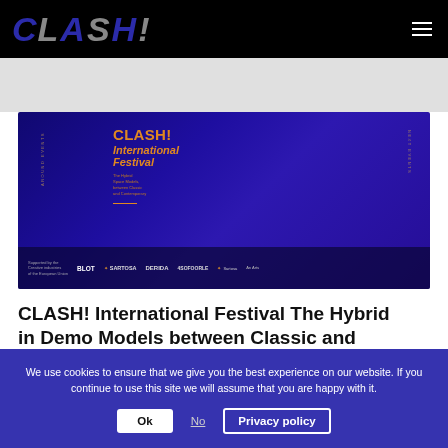CLASH! (logo) / menu icon
[Figure (illustration): CLASH! International Festival banner on dark blue/purple gradient background with text 'CLASH! International Festival The Hybrid Space Models, between Classic and Contemporary' and sponsor logos at bottom including EU, BLOT, SARTOGA, DERIDA, 4SOFOORLE, and others]
CLASH! International Festival The Hybrid in Demo Models between Classic and
We use cookies to ensure that we give you the best experience on our website. If you continue to use this site we will assume that you are happy with it.
Ok  No  Privacy policy